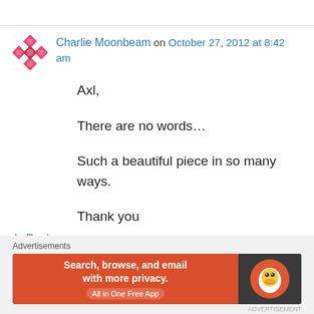[Figure (illustration): Avatar icon with pink/red diamond mosaic pattern on white background]
Charlie Moonbeam on October 27, 2012 at 8:42 am
Axl,

There are no words…

Such a beautiful piece in so many ways.

Thank you
↳ Reply
Advertisements
[Figure (screenshot): DuckDuckGo advertisement banner: Search, browse, and email with more privacy. All in One Free App]
ADVERTISEMENT